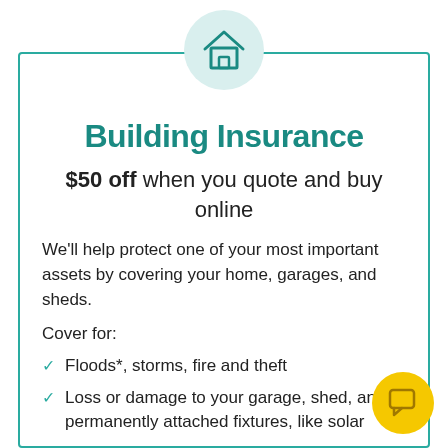[Figure (illustration): Teal house icon inside a light teal circle, centered at the top of the card]
Building Insurance
$50 off when you quote and buy online
We'll help protect one of your most important assets by covering your home, garages, and sheds.
Cover for:
Floods*, storms, fire and theft
Loss or damage to your garage, shed, and permanently attached fixtures, like solar